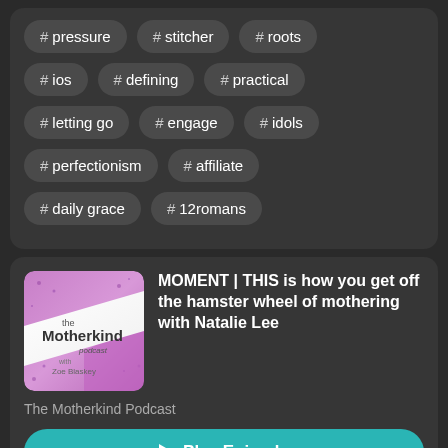# pressure
# stitcher
# roots
# ios
# defining
# practical
# letting go
# engage
# idols
# perfectionism
# affiliate
# daily grace
# 12romans
[Figure (other): The Motherkind Podcast album art — pink/purple gradient background with white diagonal banner, text 'the Motherkind podcast with Zoe Blaskey']
MOMENT | THIS is how you get off the hamster wheel of mothering with Natalie Lee
The Motherkind Podcast
▶ Play Episode